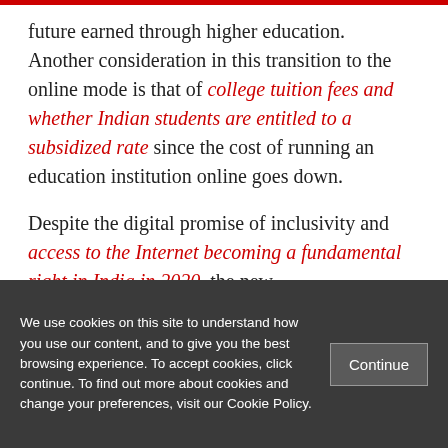future earned through higher education. Another consideration in this transition to the online mode is that of college tuition fees and whether Indian students are entitled to a subsidized rate since the cost of running an education institution online goes down.
Despite the digital promise of inclusivity and access to the Internet becoming a fundamental right in India in 2020, the new
We use cookies on this site to understand how you use our content, and to give you the best browsing experience. To accept cookies, click continue. To find out more about cookies and change your preferences, visit our Cookie Policy.